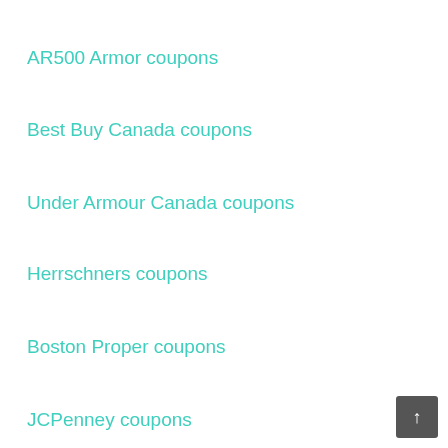Wayfair coupons
AR500 Armor coupons
Best Buy Canada coupons
Under Armour Canada coupons
Herrschners coupons
Boston Proper coupons
JCPenney coupons
Dicks Sporting Goods coupons
Doordash coupons
Dominos coupons
FragranceNet coupons
Nike coupons
Childrens Place coupons
ULTA coupons
Chuck E Cheese's coupons
West Marine coupons